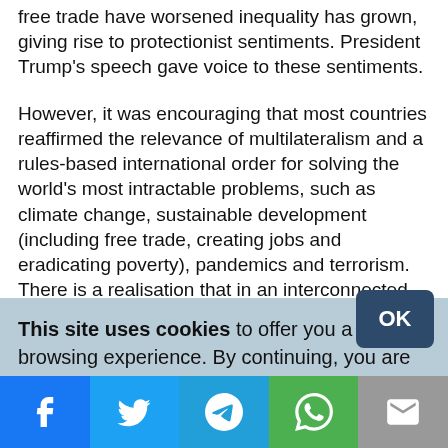free trade have worsened inequality has grown, giving rise to protectionist sentiments. President Trump's speech gave voice to these sentiments.
However, it was encouraging that most countries reaffirmed the relevance of multilateralism and a rules-based international order for solving the world's most intractable problems, such as climate change, sustainable development (including free trade, creating jobs and eradicating poverty), pandemics and terrorism. There is a realisation that in an interconnected world more international cooperation is
This site uses cookies to offer you a better browsing experience. By continuing, you are agreeing to the use of cookies on your device as described in our privacy policy. Learn more
[Figure (other): Social sharing bar with Facebook, Twitter, Telegram, WhatsApp, and Email buttons]